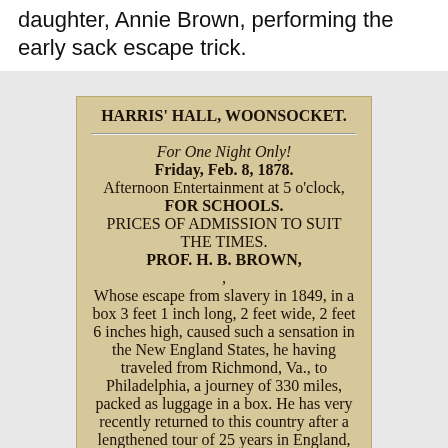daughter, Annie Brown, performing the early sack escape trick.
[Figure (photo): Photograph of an aged handbill/flyer for Harris' Hall, Woonsocket, advertising Prof. H. B. Brown's performance on Friday, Feb. 8, 1878, including African Prince's Drawing-Room Entertainment.]